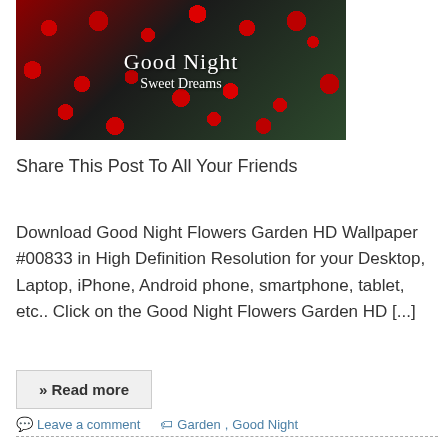[Figure (photo): Good Night Sweet Dreams image with red flowers on dark background]
Share This Post To All Your Friends
Download Good Night Flowers Garden HD Wallpaper #00833 in High Definition Resolution for your Desktop, Laptop, iPhone, Android phone, smartphone, tablet, etc.. Click on the Good Night Flowers Garden HD [...]
» Read more
Leave a comment  Garden, Good Night
Cat In The Garden HD Wallpaper #00467